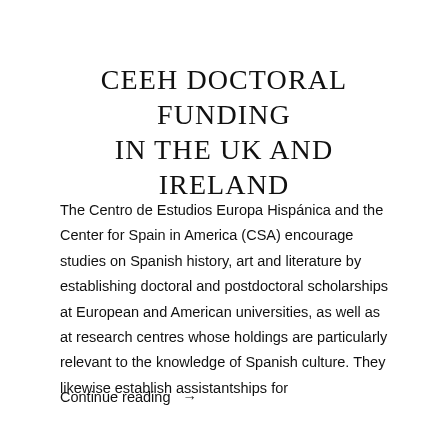CEEH DOCTORAL FUNDING IN THE UK AND IRELAND
The Centro de Estudios Europa Hispánica and the Center for Spain in America (CSA) encourage studies on Spanish history, art and literature by establishing doctoral and postdoctoral scholarships at European and American universities, as well as at research centres whose holdings are particularly relevant to the knowledge of Spanish culture. They likewise establish assistantships for
Continue reading →